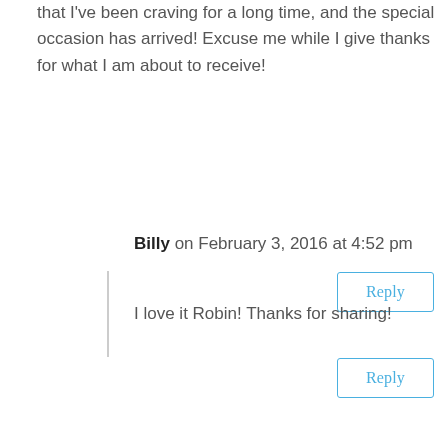that I've been craving for a long time, and the special occasion has arrived! Excuse me while I give thanks for what I am about to receive!
Reply
Billy on February 3, 2016 at 4:52 pm
I love it Robin! Thanks for sharing!
Reply